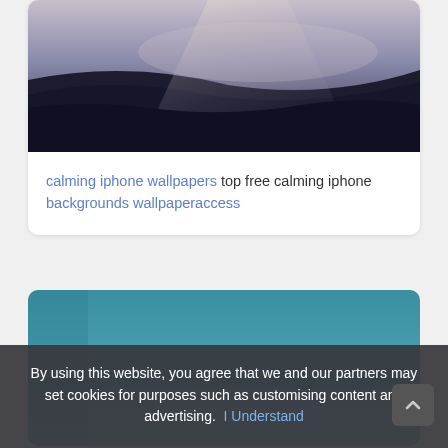[Figure (photo): Top portion of a dark moody ocean/sand dune landscape photo with light rays, dark blue-grey tones]
calming iphone wallpapers top free calming iphone backgrounds wallpaperaccess
[Figure (photo): Teal/blue gradient wallpaper image, calm sky-like solid gradient from teal to lighter blue-grey]
By using this website, you agree that we and our partners may set cookies for purposes such as customising content and advertising.  I Understand